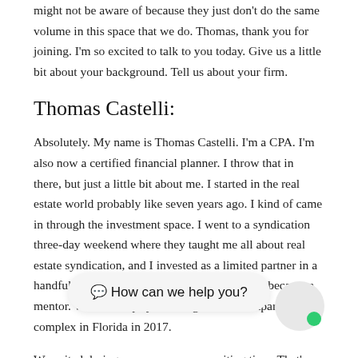might not be aware of because they just don't do the same volume in this space that we do. Thomas, thank you for joining. I'm so excited to talk to you today. Give us a little bit about your background. Tell us about your firm.
Thomas Castelli:
Absolutely. My name is Thomas Castelli. I'm a CPA. I'm also now a certified financial planner. I throw that in there, but just a little bit about me. I started in the real estate world probably like seven years ago. I kind of came in through the investment space. I went to a syndication three-day weekend where they taught me all about real estate syndication, and I invested as a limited partner in a handful of deals with someone who eventually became a mentor. We ended up syndicating an 82-unit apartment complex in Florida in 2017.
We exited during... xciting time. That's kind of it on the investment side. At the firm, I've been a tax strategist for the last five years or so. I've
[Figure (other): Chat widget bubble with text '💬 How can we help you?' and avatar circle with green online indicator dot]